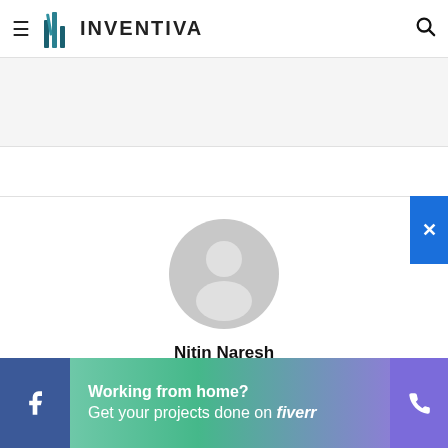[Figure (logo): Inventiva logo with stylized building/chart icon and text INVENTIVA]
[Figure (photo): Default grey user avatar placeholder (circle with person silhouette)]
Nitin Naresh
[Figure (infographic): Social media icons row: home, facebook, twitter, linkedin, youtube, instagram]
Working from home? Get your projects done on fiverr